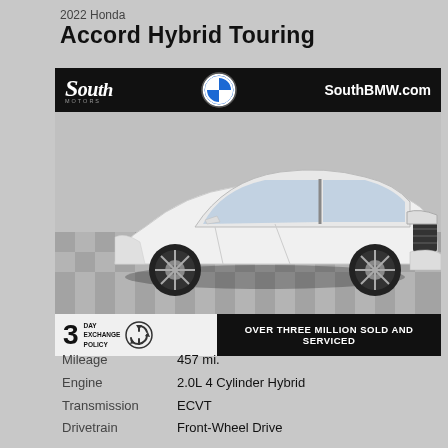2022 Honda
Accord Hybrid Touring
[Figure (photo): White 2022 Honda Accord Hybrid Touring sedan photographed in a dealership showroom with checkered floor. Dealer banner shows South Motors logo, BMW roundel, and SouthBMW.com. Bottom bar shows 3 Day Exchange Policy and 'Over Three Million Sold and Serviced' text.]
Mileage	457 mi.
Engine	2.0L 4 Cylinder Hybrid
Transmission	ECVT
Drivetrain	Front-Wheel Drive